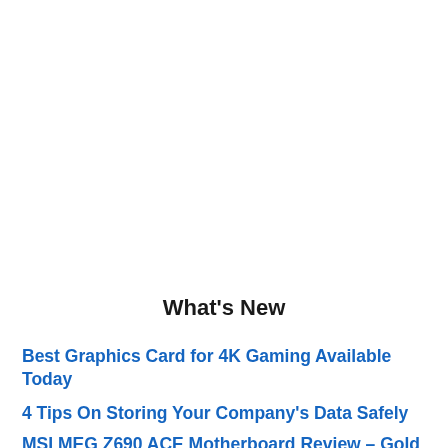What's New
Best Graphics Card for 4K Gaming Available Today
4 Tips On Storing Your Company's Data Safely
MSI MEG Z690 ACE Motherboard Review – Gold